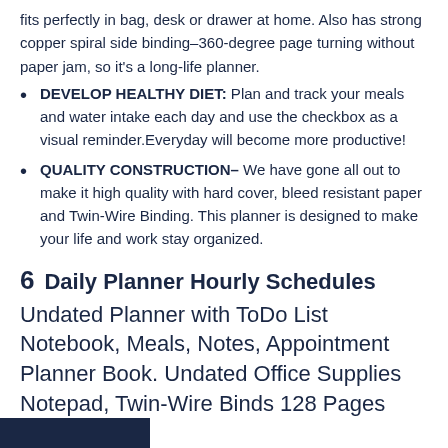fits perfectly in bag, desk or drawer at home. Also has strong copper spiral side binding–360-degree page turning without paper jam, so it's a long-life planner.
DEVELOP HEALTHY DIET: Plan and track your meals and water intake each day and use the checkbox as a visual reminder.Everyday will become more productive!
QUALITY CONSTRUCTION– We have gone all out to make it high quality with hard cover, bleed resistant paper and Twin-Wire Binding. This planner is designed to make your life and work stay organized.
6   Daily Planner Hourly Schedules Undated Planner with ToDo List Notebook, Meals, Notes, Appointment Planner Book. Undated Office Supplies Notepad, Twin-Wire Binds 128 Pages 8.5” x6.4”